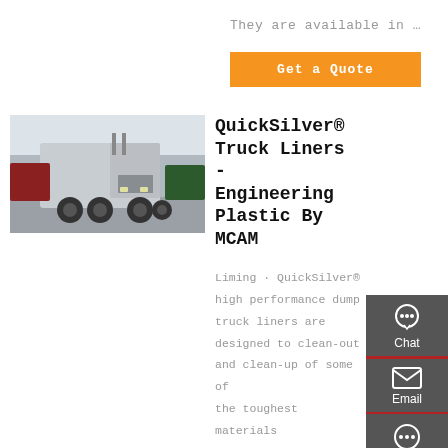They are available in …
Get a Quote
[Figure (photo): A large semi-truck/cab-over truck parked on a road with other trucks visible in the background.]
QuickSilver® Truck Liners - Engineering Plastic By MCAM
Liming · QuickSilver® high performance dump truck liners are designed to clean-out and clean-up of some of the toughest materials including hot asphalt in